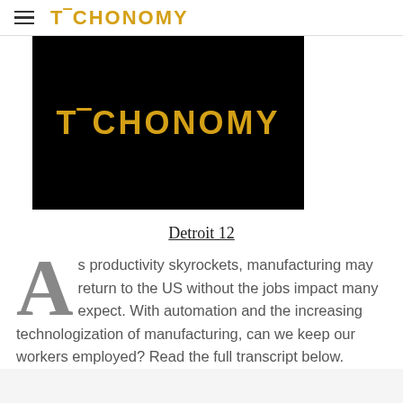TECHONOMY
[Figure (logo): Techonomy logo — gold text on black background]
Detroit 12
As productivity skyrockets, manufacturing may return to the US without the jobs impact many expect. With automation and the increasing technologization of manufacturing, can we keep our workers employed? Read the full transcript below.